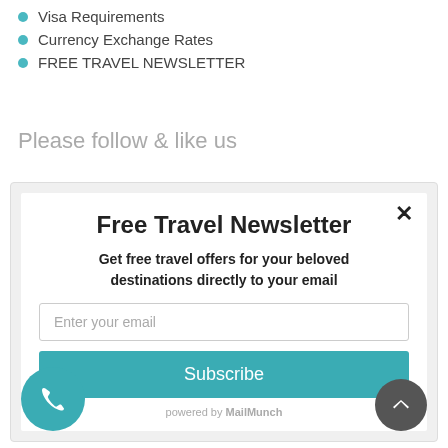Visa Requirements
Currency Exchange Rates
FREE TRAVEL NEWSLETTER
Please follow & like us
[Figure (screenshot): Newsletter signup modal with title 'Free Travel Newsletter', subtitle 'Get free travel offers for your beloved destinations directly to your email', email input field, Subscribe button, and 'powered by MailMunch' footer. Close button (×) in top right. Teal phone button bottom left, dark scroll-up button bottom right.]